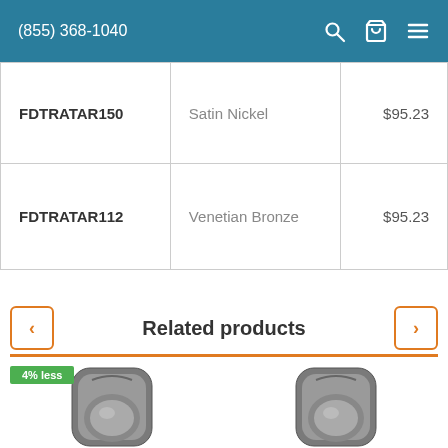(855) 368-1040
| SKU | Finish | Price |
| --- | --- | --- |
| FDTRATAR150 | Satin Nickel | $95.23 |
| FDTRATAR112 | Venetian Bronze | $95.23 |
Related products
[Figure (photo): Door knob product with 4% less badge]
[Figure (photo): Door knob product]